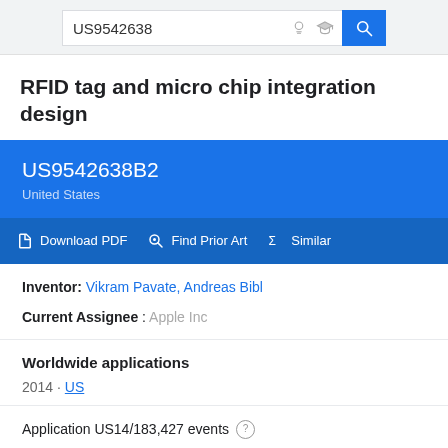[Figure (screenshot): Google Patents search bar with query 'US9542638', lightbulb icon, graduation cap icon, and blue search button with magnifying glass icon]
RFID tag and micro chip integration design
US9542638B2
United States
Download PDF  Find Prior Art  Similar
Inventor: Vikram Pavate, Andreas Bibl
Current Assignee : Apple Inc
Worldwide applications
2014 · US
Application US14/183,427 events